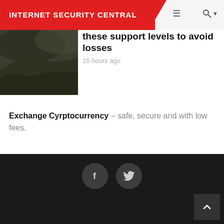INTERNET SECURITY CENTRAL
[Figure (photo): Dark moody landscape photo with grass and cloudy sky]
these support levels to avoid losses
15 hours ago
Exchange Cyrptocurrency – safe, secure and with low fees.
Social media icons: Facebook, Twitter. Scroll to top button.